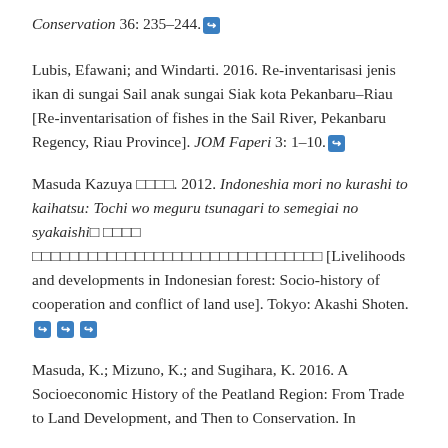Conservation 36: 235–244. [link]
Lubis, Efawani; and Windarti. 2016. Re-inventarisasi jenis ikan di sungai Sail anak sungai Siak kota Pekanbaru–Riau [Re-inventarisation of fishes in the Sail River, Pekanbaru Regency, Riau Province]. JOM Faperi 3: 1–10. [link]
Masuda Kazuya □□□□. 2012. Indoneshia mori no kurashi to kaihatsu: Tochi wo meguru tsunagari to semegiai no syakaishi □ □□□□ □□□□□□□□□□□□□□□□□□□□□□□□□□□ [Livelihoods and developments in Indonesian forest: Socio-history of cooperation and conflict of land use]. Tokyo: Akashi Shoten. [link][link][link]
Masuda, K.; Mizuno, K.; and Sugihara, K. 2016. A Socioeconomic History of the Peatland Region: From Trade to Land Development, and Then to Conservation. In